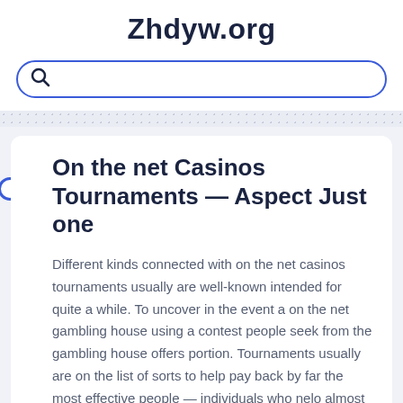Zhdyw.org
On the net Casinos Tournaments — Aspect Just one
Different kinds connected with on the net casinos tournaments usually are well-known intended for quite a while. To uncover in the event a on the net gambling house using a contest people seek from the gambling house offers portion. Tournaments usually are on the list of sorts to help pay back by far the most effective people — individuals who nelo almost all, find the cash